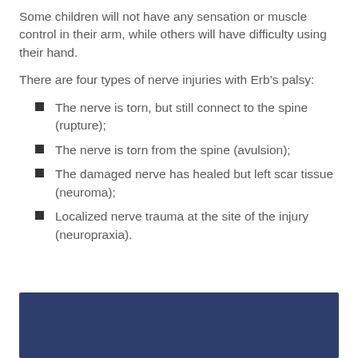Some children will not have any sensation or muscle control in their arm, while others will have difficulty using their hand.
There are four types of nerve injuries with Erb’s palsy:
The nerve is torn, but still connect to the spine (rupture);
The nerve is torn from the spine (avulsion);
The damaged nerve has healed but left scar tissue (neuroma);
Localized nerve trauma at the site of the injury (neuropraxia).
[Figure (other): Dark navy blue rectangular banner at the bottom of the page]